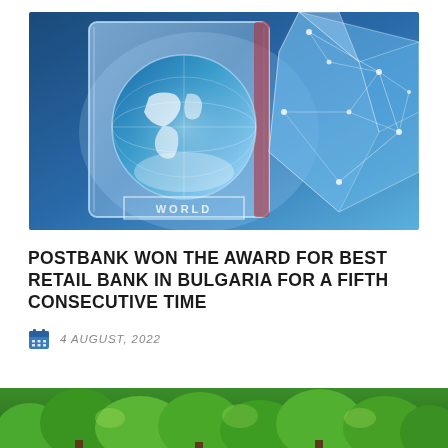[Figure (photo): Crystal award trophy with globe inside, next to a geometric blue diamond shape, on a blue background. 'WORLD' text partially visible at bottom of trophy.]
POSTBANK WON THE AWARD FOR BEST RETAIL BANK IN BULGARIA FOR A FIFTH CONSECUTIVE TIME
4 AUGUST, 2022
[Figure (photo): Green trees/forest scene partially visible at bottom of page, cropped.]